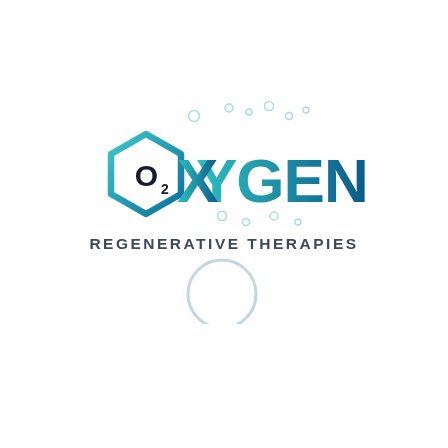[Figure (logo): Oxygen Regenerative Therapies logo featuring a hexagon shape with O2 text, the word OXYGEN in teal/dark blue gradient bold letters with small bubble decorations above, and 'REGENERATIVE THERAPIES' subtitle in dark gray. Below the main logo is a large light-blue/gray circle outline bubble.]